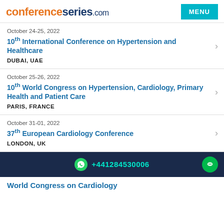conferenceseries.com
October 24-25, 2022 | 10th International Conference on Hypertension and Healthcare | DUBAI, UAE
October 25-26, 2022 | 10th World Congress on Hypertension, Cardiology, Primary Health and Patient Care | PARIS, FRANCE
October 31-01, 2022 | 37th European Cardiology Conference | LONDON, UK
+441284530006
World Congress on Cardiology